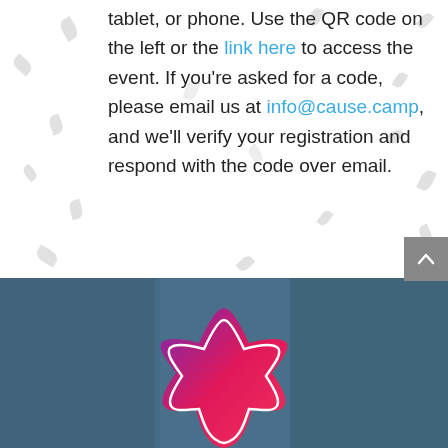tablet, or phone. Use the QR code on the left or the link here to access the event. If you're asked for a code, please email us at info@cause.camp, and we'll verify your registration and respond with the code over email.
[Figure (photo): Dark teal/blue background section with a pink-to-purple gradient star/burst logo shape at the bottom center, partially visible. A scroll-to-top button (dark gray, upward chevron) appears at the top right of this section.]